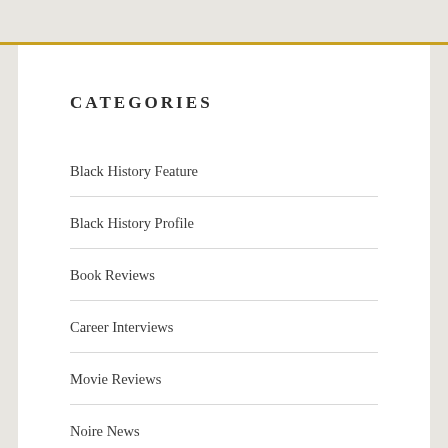CATEGORIES
Black History Feature
Black History Profile
Book Reviews
Career Interviews
Movie Reviews
Noire News
Places To Visit